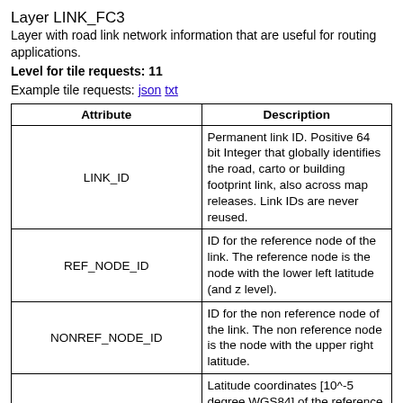Layer LINK_FC3
Layer with road link network information that are useful for routing applications.
Level for tile requests: 11
Example tile requests: json txt
| Attribute | Description |
| --- | --- |
| LINK_ID | Permanent link ID. Positive 64 bit Integer that globally identifies the road, carto or building footprint link, also across map releases. Link IDs are never reused. |
| REF_NODE_ID | ID for the reference node of the link. The reference node is the node with the lower left latitude (and z level). |
| NONREF_NODE_ID | ID for the non reference node of the link. The non reference node is the node with the upper right latitude. |
| LAT | Latitude coordinates [10^-5 degree WGS84] of the reference node and the non reference node. Comma separated. Each value is relative to the previous. |
| LON | Longitude coordinates [10^-5 degree... |